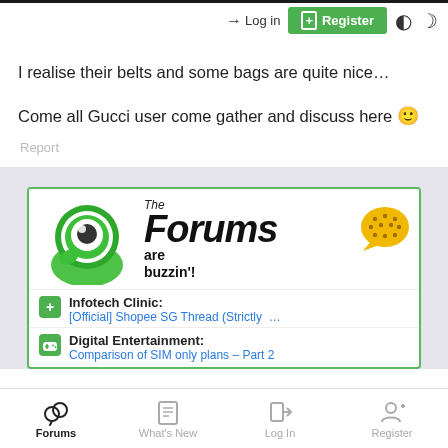Log in  Register
I realise their belts and some bags are quite nice…
Come all Gucci user come gather and discuss here 🙂
Report
[Figure (screenshot): Forum promotional banner with mascot (green character with big eye), text 'The Forums are buzzin'!' with speech bubble, followed by two forum section rows: 'Infotech Clinic: [Official] Shopee SG Thread (Strictly …' and 'Digital Entertainment: Comparison of SIM only plans – Part 2']
Forums  What's New  Log In  Register